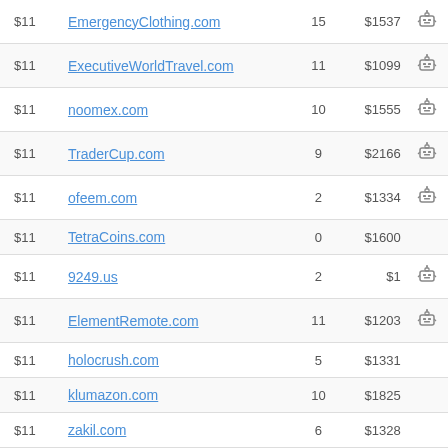| Price | Domain | Bids | Appraisal |  |
| --- | --- | --- | --- | --- |
| $11 | EmergencyClothing.com | 15 | $1537 | 🤖 |
| $11 | ExecutiveWorldTravel.com | 11 | $1099 | 🤖 |
| $11 | noomex.com | 10 | $1555 | 🤖 |
| $11 | TraderCup.com | 9 | $2166 | 🤖 |
| $11 | ofeem.com | 2 | $1334 | 🤖 |
| $11 | TetraCoins.com | 0 | $1600 |  |
| $11 | 9249.us | 2 | $1 | 🤖 |
| $11 | ElementRemote.com | 11 | $1203 | 🤖 |
| $11 | holocrush.com | 5 | $1331 |  |
| $11 | klumazon.com | 10 | $1825 |  |
| $11 | zakil.com | 6 | $1328 |  |